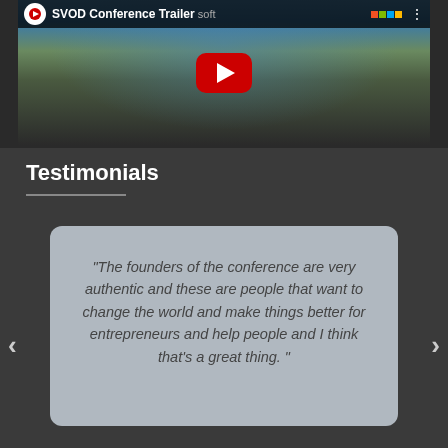[Figure (screenshot): YouTube video thumbnail showing 'SVOD Conference Trailer' with a group photo of conference attendees and a red YouTube play button overlay. Microsoft logo visible in the background.]
Testimonials
"The founders of the conference are very authentic and these are people that want to change the world and make things better for entrepreneurs and help people and I think that's a great thing. "